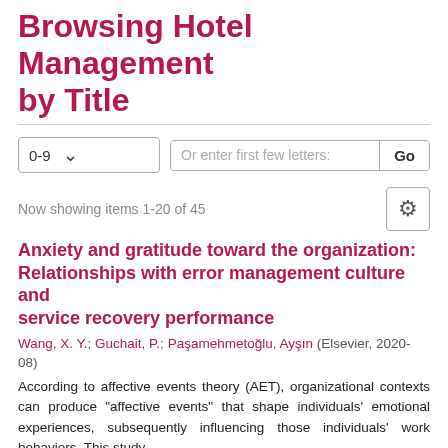Browsing Hotel Management by Title
0-9
Or enter first few letters:
Go
Now showing items 1-20 of 45
Anxiety and gratitude toward the organization: Relationships with error management culture and service recovery performance
Wang, X. Y.; Guchait, P.; Paşamehmetoğlu, Ayşın (Elsevier, 2020-08)
According to affective events theory (AET), organizational contexts can produce "affective events" that shape individuals' emotional experiences, subsequently influencing those individuals' work behaviors. This study ...
cited by count
The challenge of constructing a unique online identity through two incongruous social media ...